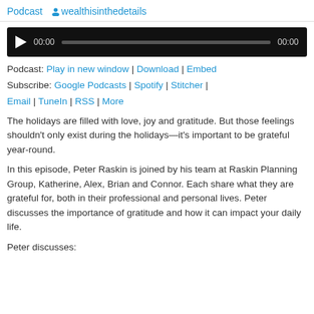Podcast  wealthisinthedetails
[Figure (other): Audio player widget with play button, time display 00:00, progress bar, and end time 00:00 on black background]
Podcast: Play in new window | Download | Embed
Subscribe: Google Podcasts | Spotify | Stitcher | Email | TuneIn | RSS | More
The holidays are filled with love, joy and gratitude. But those feelings shouldn't only exist during the holidays—it's important to be grateful year-round.
In this episode, Peter Raskin is joined by his team at Raskin Planning Group, Katherine, Alex, Brian and Connor. Each share what they are grateful for, both in their professional and personal lives. Peter discusses the importance of gratitude and how it can impact your daily life.
Peter discusses: